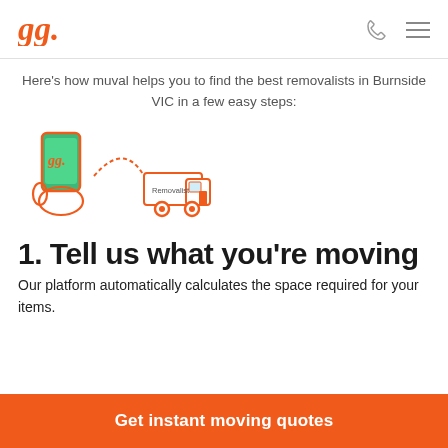[Figure (logo): Muval logo in orange cursive script with dot]
Here's how muval helps you to find the best removalists in Burnside VIC in a few easy steps:
[Figure (illustration): Orange outline illustration of a hand holding a phone with muval logo, and a removalist truck]
1. Tell us what you're moving
Our platform automatically calculates the space required for your items.
Get instant moving quotes